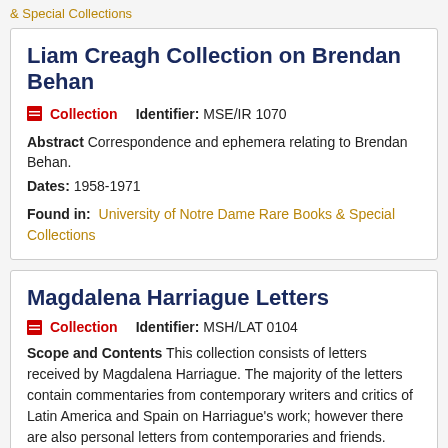& Special Collections
Liam Creagh Collection on Brendan Behan
Collection   Identifier: MSE/IR 1070
Abstract Correspondence and ephemera relating to Brendan Behan.
Dates: 1958-1971
Found in: University of Notre Dame Rare Books & Special Collections
Magdalena Harriague Letters
Collection   Identifier: MSH/LAT 0104
Scope and Contents This collection consists of letters received by Magdalena Harriague. The majority of the letters contain commentaries from contemporary writers and critics of Latin America and Spain on Harriague's work; however there are also personal letters from contemporaries and friends. Materials include letters and postcards.